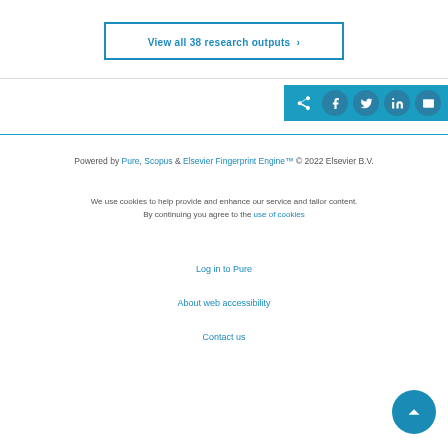View all 38 research outputs ›
[Figure (other): Share bar with social media icons: share, Facebook, Twitter, LinkedIn, email]
Powered by Pure, Scopus & Elsevier Fingerprint Engine™ © 2022 Elsevier B.V.
We use cookies to help provide and enhance our service and tailor content. By continuing you agree to the use of cookies
Log in to Pure
About web accessibility
Contact us